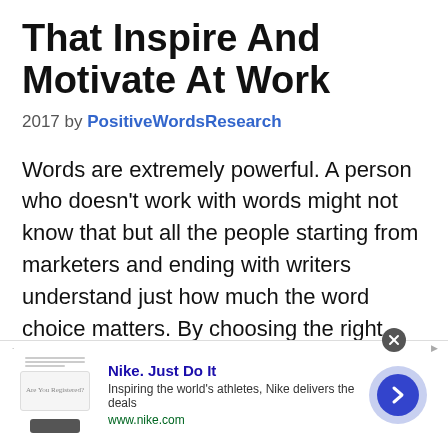That Inspire And Motivate At Work
2017 by PositiveWordsResearch
Words are extremely powerful. A person who doesn’t work with words might not know that but all the people starting from marketers and ending with writers understand just how much the word choice matters. By choosing the right words you are able to motivate people, to provoke them, to persuade, and so on. You can ...
Read more
[Figure (other): Nike advertisement banner with logo placeholder, title 'Nike. Just Do It', description 'Inspiring the world’s athletes, Nike delivers the deals', URL 'www.nike.com', and a right-arrow navigation button]